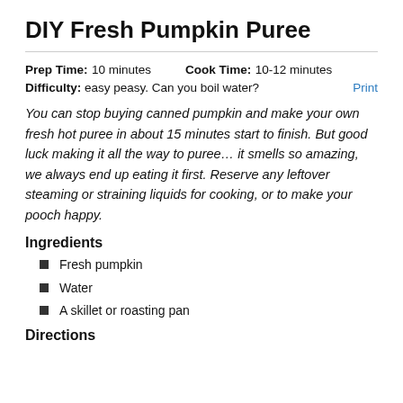DIY Fresh Pumpkin Puree
Prep Time: 10 minutes    Cook Time: 10-12 minutes
Difficulty: easy peasy. Can you boil water?
You can stop buying canned pumpkin and make your own fresh hot puree in about 15 minutes start to finish. But good luck making it all the way to puree… it smells so amazing, we always end up eating it first. Reserve any leftover steaming or straining liquids for cooking, or to make your pooch happy.
Ingredients
Fresh pumpkin
Water
A skillet or roasting pan
Directions